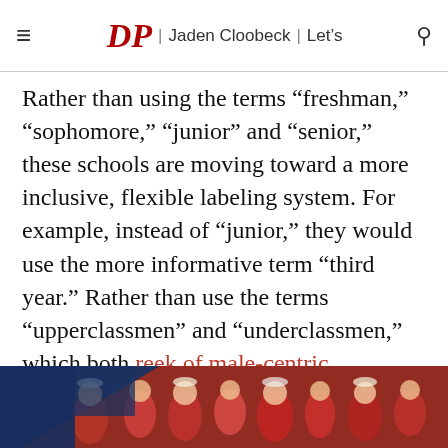DP | Jaden Cloobeck | Let's
Rather than using the terms “freshman,” “sophomore,” “junior” and “senior,” these schools are moving toward a more inclusive, flexible labeling system. For example, instead of “junior,” they would use the more informative term “third year.” Rather than use the terms “upperclassmen” and “underclassmen,” which both reek of male-centric hierarchy, Penn State has elected to use the terms “upper division” and “lower division” students.
[Figure (photo): Advertisement banner showing crowd of students in red shirts at a Penn State event, with a dark blue overlay on the left side.]